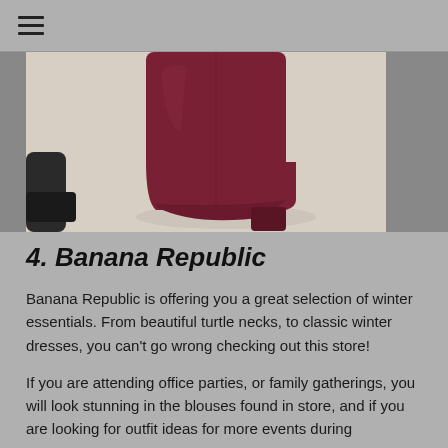☰
[Figure (photo): Close-up photograph of a person's legs wearing dark burgundy/maroon suede ankle boots with a block heel, standing on a light-colored floor. Another dark shoe is partially visible at the left edge.]
4. Banana Republic
Banana Republic is offering you a great selection of winter essentials. From beautiful turtle necks, to classic winter dresses, you can't go wrong checking out this store!
If you are attending office parties, or family gatherings, you will look stunning in the blouses found in store, and if you are looking for outfit ideas for more events during